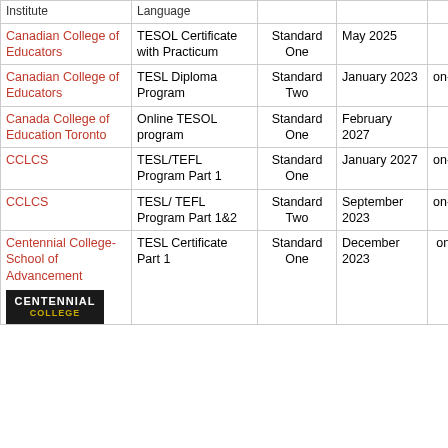| Institute | Language |  |  |  |  |
| --- | --- | --- | --- | --- | --- |
| Canadian College of Educators | TESOL Certificate with Practicum | Standard One | May 2025 | online | Miss... |
| Canadian College of Educators | TESL Diploma Program | Standard Two | January 2023 | on-campus | Miss... |
| Canada College of Education Toronto | Online TESOL program | Standard One | February 2027 | online | To... |
| CCLCS | TESL/TEFL Program Part 1 | Standard One | January 2027 | on-campus | To... |
| CCLCS | TESL/ TEFL Program Part 1&2 | Standard Two | September 2023 | on-campus | To... |
| Centennial College- School of Advancement | TESL Certificate Part 1 | Standard One | December 2023 | on-campus, online | To... |